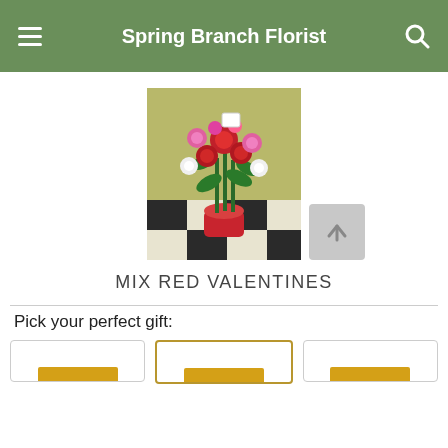Spring Branch Florist
[Figure (photo): A floral arrangement with red, pink, and white flowers including roses and gerbera daisies in a red vase, set on a black-and-white checkered floor in front of a green wall.]
MIX RED VALENTINES
Pick your perfect gift: